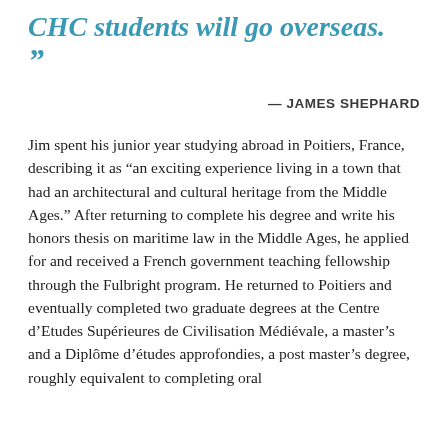CHC students will go overseas. ”
— JAMES SHEPHARD
Jim spent his junior year studying abroad in Poitiers, France, describing it as “an exciting experience living in a town that had an architectural and cultural heritage from the Middle Ages.” After returning to complete his degree and write his honors thesis on maritime law in the Middle Ages, he applied for and received a French government teaching fellowship through the Fulbright program. He returned to Poitiers and eventually completed two graduate degrees at the Centre d’Etudes Supérieures de Civilisation Médiévale, a master’s and a Diplôme d’études approfondies, a post master’s degree, roughly equivalent to completing oral